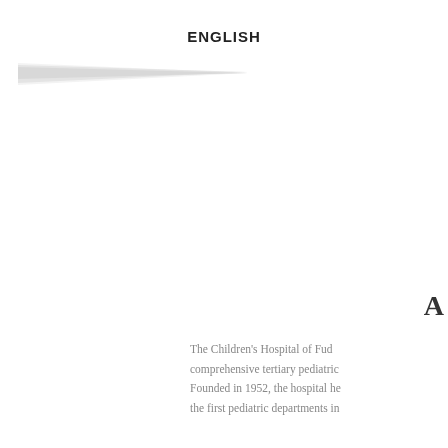ENGLISH
[Figure (illustration): A gray triangular wedge/arrow shape pointing right, positioned in the upper left area of the page.]
A
The Children's Hospital of Fud comprehensive tertiary pediatric Founded in 1952, the hospital he the first pediatric departments in